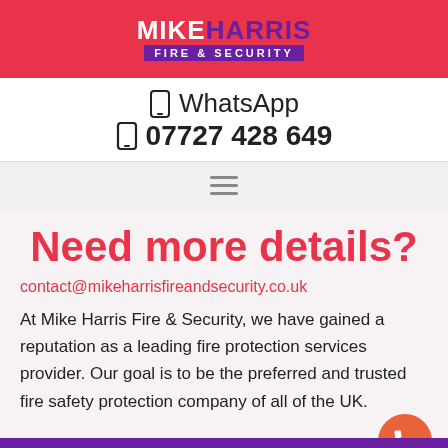[Figure (logo): Mike Harris Fire & Security logo on red banner background. 'MIKE' in white bold, 'HARRIS' in purple bold, 'FIRE & SECURITY' in white on purple bar below.]
WhatsApp
07727 428 649
[Figure (other): Hamburger menu icon (three horizontal lines)]
Need more details?
contact@mikeharrisfireandsecurity.co.uk
At Mike Harris Fire & Security, we have gained a reputation as a leading fire protection services provider. Our goal is to be the preferred and trusted fire safety protection company of all of the UK.